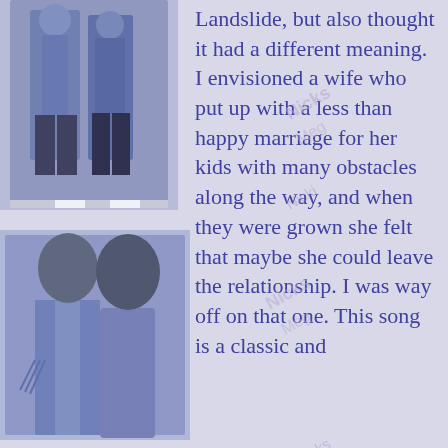[Figure (photo): Two people standing together, black and white/blue-toned photo, top image]
[Figure (photo): Man and woman posing together, blue-toned photo, bottom image]
Landslide, but also thought it had a different meaning. I envisioned a wife who put up with a less than happy marriage for her kids with many obstacles along the way, and when they were grown she felt that maybe she could leave the relationship. I was way off on that one. This song is a classic and